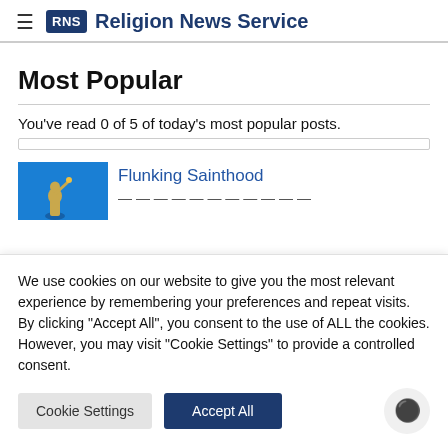RNS Religion News Service
Most Popular
You've read 0 of 5 of today's most popular posts.
[Figure (photo): Thumbnail image of a golden statue against a blue sky, associated with Flunking Sainthood article]
Flunking Sainthood
We use cookies on our website to give you the most relevant experience by remembering your preferences and repeat visits. By clicking "Accept All", you consent to the use of ALL the cookies. However, you may visit "Cookie Settings" to provide a controlled consent.
Cookie Settings   Accept All